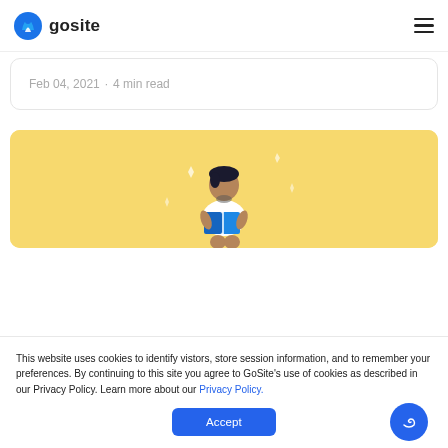gosite
Feb 04, 2021  ·  4 min read
[Figure (illustration): Illustration of a person sitting and reading a book on a yellow background]
This website uses cookies to identify vistors, store session information, and to remember your preferences. By continuing to this site you agree to GoSite's use of cookies as described in our Privacy Policy. Learn more about our Privacy Policy.